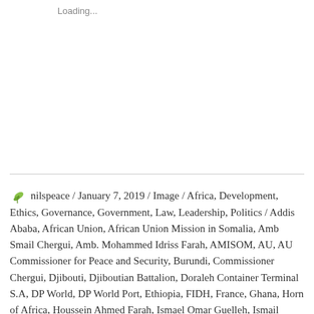Loading...
nilspeace / January 7, 2019 / Image / Africa, Development, Ethics, Governance, Government, Law, Leadership, Politics / Addis Ababa, African Union, African Union Mission in Somalia, Amb Smail Chergui, Amb. Mohammed Idriss Farah, AMISOM, AU, AU Commissioner for Peace and Security, Burundi, Commissioner Chergui, Djibouti, Djiboutian Battalion, Doraleh Container Terminal S.A, DP World, DP World Port, Ethiopia, FIDH, France, Ghana, Horn of Africa, Houssein Ahmed Farah, Ismael Omar Guelleh, Ismail Omar Guelleh, Kenya, La Ligue Djiboutieene des droits humains, LDDH, Maitre Berenger Tourne du Barreau de Paris, Maitre Zakaria Abdillahi Ahmed, Memorandum of Understand, Mohamed Ahmed Ebo, Mohamed Idriss Farah, MOU, Minority Report African, Paris, President...